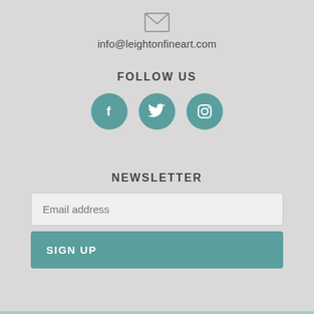[Figure (illustration): Envelope/email icon outlined in gray]
info@leightonfineart.com
FOLLOW US
[Figure (illustration): Three social media icons: Facebook, Twitter, Instagram in teal circles]
NEWSLETTER
Email address
SIGN UP